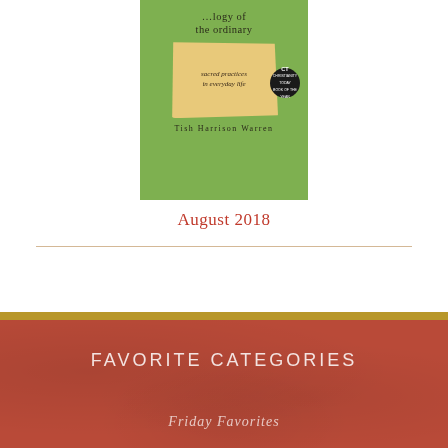[Figure (illustration): Book cover for 'Liturgy of the Ordinary: Sacred Practices in Everyday Life' by Tish Harrison Warren. Green background with a parchment/torn paper graphic in the center, text overlay, and a Christianity Today Book of the Year badge.]
August 2018
FAVORITE CATEGORIES
Friday Favorites